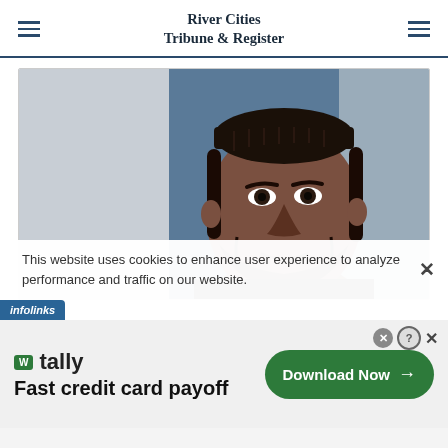River Cities Tribune & Register
[Figure (photo): Mugshot photo of a bearded man with short dark hair against a blue background]
This website uses cookies to enhance user experience to analyze performance and traffic on our website.
[Figure (infographic): Tally app advertisement: Fast credit card payoff — Download Now button]